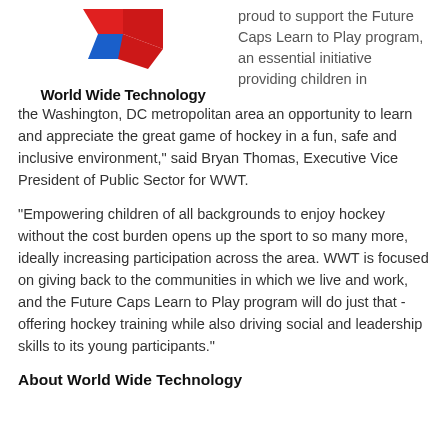[Figure (logo): World Wide Technology logo with red and blue angular shapes and text 'World Wide Technology' below]
proud to support the Future Caps Learn to Play program, an essential initiative providing children in the Washington, DC metropolitan area an opportunity to learn and appreciate the great game of hockey in a fun, safe and inclusive environment," said Bryan Thomas, Executive Vice President of Public Sector for WWT.
"Empowering children of all backgrounds to enjoy hockey without the cost burden opens up the sport to so many more, ideally increasing participation across the area. WWT is focused on giving back to the communities in which we live and work, and the Future Caps Learn to Play program will do just that - offering hockey training while also driving social and leadership skills to its young participants."
About World Wide Technology